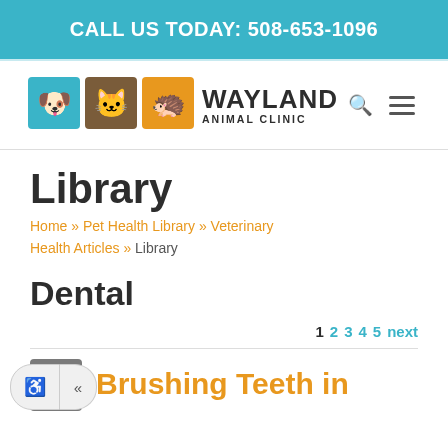CALL US TODAY: 508-653-1096
[Figure (logo): Wayland Animal Clinic logo with three colored pet icon boxes (blue dog, brown cat, orange hedgehog) and clinic name]
Library
Home » Pet Health Library » Veterinary Health Articles » Library
Dental
1 2 3 4 5 next
Brushing Teeth in